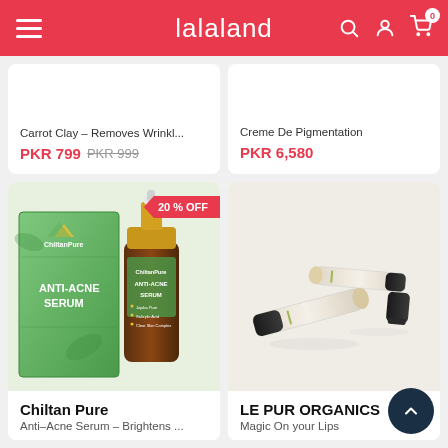lalaland
Carrot Clay – Removes Wrinkl...
PKR 799  PKR 999
Creme De Pigmentation
PKR 6,580
[Figure (photo): ChiltanPure Anti-Acne Serum product box and dropper bottle on green background]
20 % OFF
Chiltan Pure
Anti-Acne Serum – Brightens ...
[Figure (photo): LE PUR ORGANICS lip products – two sticks and a cap arranged on white background]
LE PUR ORGANICS
Magic On your Lips